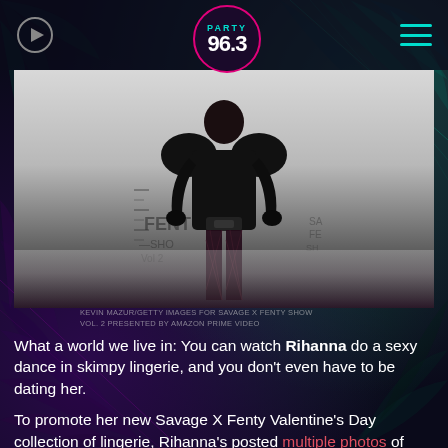PARTY 96.3
[Figure (photo): Rihanna in black leather outfit and fishnet stockings at Savage X Fenty Show Vol. 2 event backdrop]
KEVIN MAZUR/GETTY IMAGES FOR SAVAGE X FENTY SHOW VOL. 2 PRESENTED BY AMAZON PRIME VIDEO
What a world we live in: You can watch Rihanna do a sexy dance in skimpy lingerie, and you don't even have to be dating her.
To promote her new Savage X Fenty Valentine's Day collection of lingerie, Rihanna's posted multiple photos of some of the new designs, modeled by none other than herself. She's also posted a video where